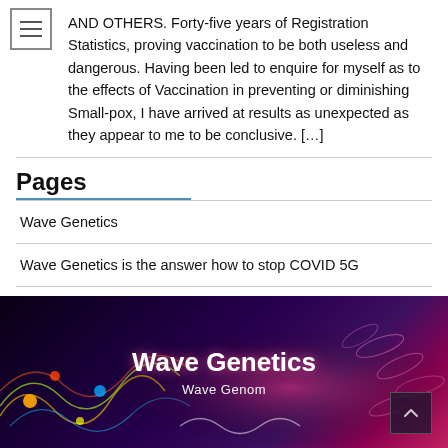AND OTHERS. Forty-five years of Registration Statistics, proving vaccination to be both useless and dangerous. Having been led to enquire for myself as to the effects of Vaccination in preventing or diminishing Small-pox, I have arrived at results as unexpected as they appear to me to be conclusive. […]
Pages
Wave Genetics
Wave Genetics is the answer how to stop COVID 5G
[Figure (illustration): Dark banner image with colorful light wave patterns and glowing orbs on black background with purple and pink hues on the right side, displaying the text 'Wave Genetics' and 'Wave Genom']